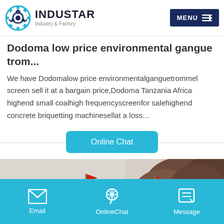INDUSTAR Industry & Factory | MENU
Dodoma low price environmental gangue trom...
We have Dodomalow price environmentalganguetrommel screen sell it at a bargain price,Dodoma Tanzania Africa highend small coalhigh frequencyscreenfor salehighend concrete briquetting machinesellat a loss…
[Figure (screenshot): Online Chat button with horizontal divider line]
[Figure (photo): Outdoor photo showing red flags and trees in the background, partial landscape view]
Email | OnlineChat | Message